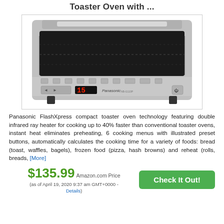Toaster Oven with ...
[Figure (photo): Panasonic FlashXpress compact toaster oven, silver, with digital display showing 15, control buttons and Panasonic branding]
Panasonic FlashXpress compact toaster oven technology featuring double infrared ray heater for cooking up to 40% faster than conventional toaster ovens, instant heat eliminates preheating, 6 cooking menus with illustrated preset buttons, automatically calculates the cooking time for a variety of foods: bread (toast, waffles, bagels), frozen food (pizza, hash browns) and reheat (rolls, breads, [More]
$135.99 Amazon.com Price (as of April 19, 2020 9:37 am GMT+0000 - Details)
Check It Out!